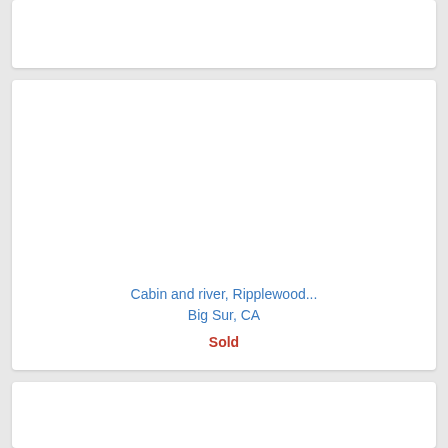[Figure (photo): Top card - partial property listing card, image area mostly white/blank]
Cabin and river, Ripplewood...
Big Sur, CA
Sold
[Figure (photo): Bottom card - partial property listing card, image area mostly white/blank]